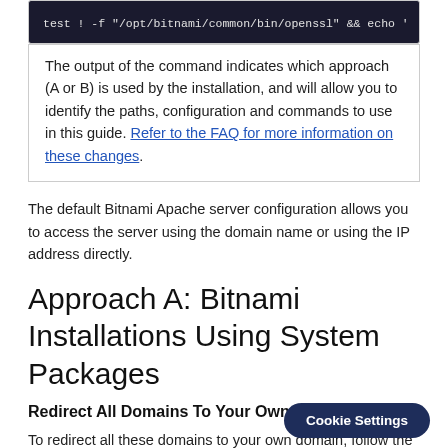test ! -f "/opt/bitnami/common/bin/openssl" && echo '
The output of the command indicates which approach (A or B) is used by the installation, and will allow you to identify the paths, configuration and commands to use in this guide. Refer to the FAQ for more information on these changes.
The default Bitnami Apache server configuration allows you to access the server using the domain name or using the IP address directly.
Approach A: Bitnami Installations Using System Packages
Redirect All Domains To Your Own Domain
To redirect all these domains to your own domain, follow the steps below: